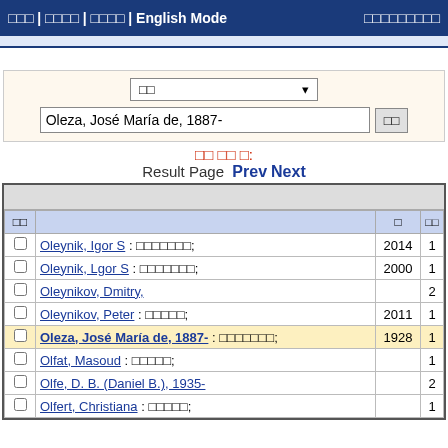□□□ | □□□□ | □□□□ | English Mode    □□□□□□□□□
Oleza, José María de, 1887-
□□ □□ □:
Result Page  Prev  Next
| □□ |  | □ | □□ |
| --- | --- | --- | --- |
| ☐ | Oleynik, Igor S : □□□□□□□; | 2014 | 1 |
| ☐ | Oleynik, Lgor S : □□□□□□□; | 2000 | 1 |
| ☐ | Oleynikov, Dmitry, |  | 2 |
| ☐ | Oleynikov, Peter : □□□□□; | 2011 | 1 |
| ☐ | Oleza, José María de, 1887- : □□□□□□□; | 1928 | 1 |
| ☐ | Olfat, Masoud : □□□□□; |  | 1 |
| ☐ | Olfe, D. B. (Daniel B.), 1935- |  | 2 |
| ☐ | Olfert, Christiana : □□□□□; |  | 1 |